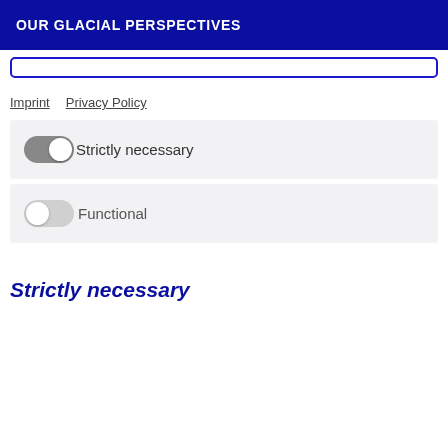OUR GLACIAL PERSPECTIVES
[Figure (screenshot): Search input box with rounded border]
Imprint   Privacy Policy
[Figure (other): Toggle switch (on, gray) labeled 'Strictly necessary' in a light gray panel]
[Figure (other): Toggle switch (off, light gray) labeled 'Functional' in a light gray panel]
Strictly necessary